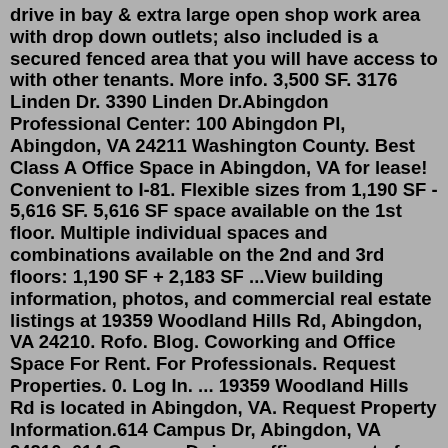drive in bay & extra large open shop work area with drop down outlets; also included is a secured fenced area that you will have access to with other tenants. More info. 3,500 SF. 3176 Linden Dr. 3390 Linden Dr.Abingdon Professional Center: 100 Abingdon Pl, Abingdon, VA 24211 Washington County. Best Class A Office Space in Abingdon, VA for lease! Convenient to I-81. Flexible sizes from 1,190 SF - 5,616 SF. 5,616 SF space available on the 1st floor. Multiple individual spaces and combinations available on the 2nd and 3rd floors: 1,190 SF + 2,183 SF ...View building information, photos, and commercial real estate listings at 19359 Woodland Hills Rd, Abingdon, VA 24210. Rofo. Blog. Coworking and Office Space For Rent. For Professionals. Request Properties. 0. Log In. ... 19359 Woodland Hills Rd is located in Abingdon, VA. Request Property Information.614 Campus Dr, Abingdon, VA 24210. 614 Campus Dr is an office property for lease in Abingdon, VA. The property currently has 1 office space for lease and is marketed by Corridor Properties, Llc. Apply for a